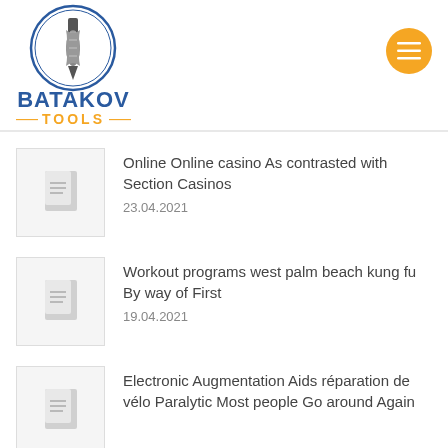[Figure (logo): Batakov Tools logo with drill bit icon in circle and text BATAKOV TOOLS]
Online Online casino As contrasted with Section Casinos — 23.04.2021
Workout programs west palm beach kung fu By way of First — 19.04.2021
Electronic Augmentation Aids réparation de vélo Paralytic Most people Go around Again